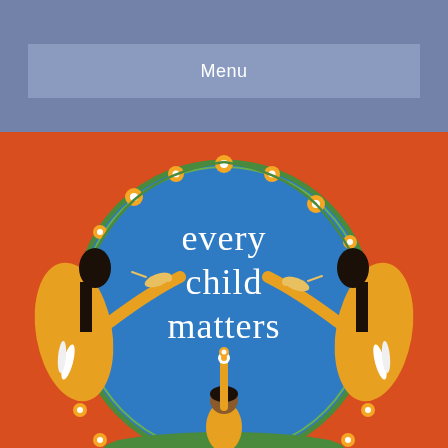Menu
[Figure (illustration): Circular illustration on an orange-red background depicting the 'Every Child Matters' message. A large blue circle is bordered by a wreath of orange flowers and green stems. Inside the blue circle, white text reads 'every child matters' in a hand-lettered style with a small orange flower dot. Two golden hummingbirds flank the text. On the left and right sides outside the circle, two figures in orange and yellow clothing with long dark hair reach their arms toward the circle, each holding white feathers. At the bottom center, a child with dark hair raises one arm up holding a white flower. Small orange flowers and green branches surround the base.]